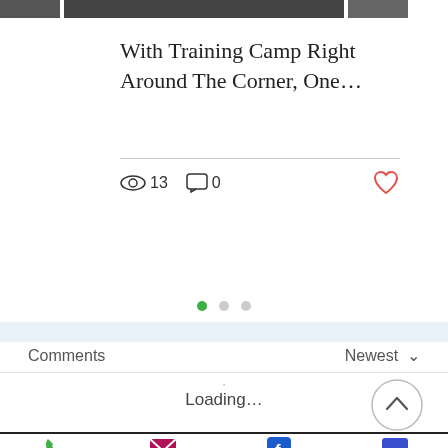[Figure (photo): Partial photos strip at top of page showing cropped images of people]
With Training Camp Right Around The Corner, One…
👁 13   💬 0   ❤
[Figure (infographic): Three pagination dots: green filled, gray, gray]
Comments   Newest ∨
Loading…
Phone   Email   Facebook   Chat